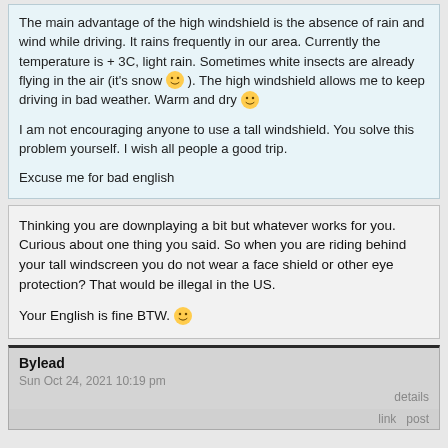The main advantage of the high windshield is the absence of rain and wind while driving. It rains frequently in our area. Currently the temperature is + 3C, light rain. Sometimes white insects are already flying in the air (it's snow 😀 ). The high windshield allows me to keep driving in bad weather. Warm and dry 😀
I am not encouraging anyone to use a tall windshield. You solve this problem yourself. I wish all people a good trip.
Excuse me for bad english
Thinking you are downplaying a bit but whatever works for you. Curious about one thing you said. So when you are riding behind your tall windscreen you do not wear a face shield or other eye protection? That would be illegal in the US.
Your English is fine BTW. 😀
Bylead
Sun Oct 24, 2021 10:19 pm
details
link   post